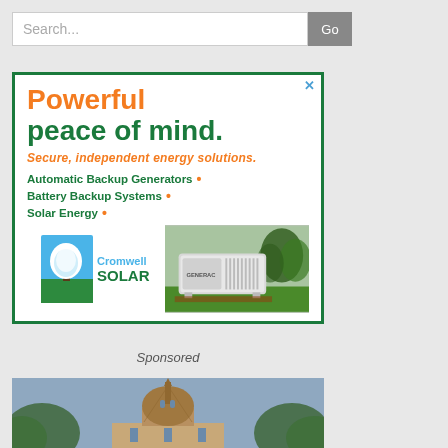[Figure (screenshot): Search bar with text input placeholder 'Search...' and a grey 'Go' button]
[Figure (infographic): Cromwell Solar advertisement with text: 'Powerful peace of mind. Secure, independent energy solutions. Automatic Backup Generators • Battery Backup Systems • Solar Energy •' with Cromwell Solar logo and a Generac generator image]
Sponsored
[Figure (photo): Partial photo of a building with a dome/cupola visible against a blue-grey sky, surrounded by trees]